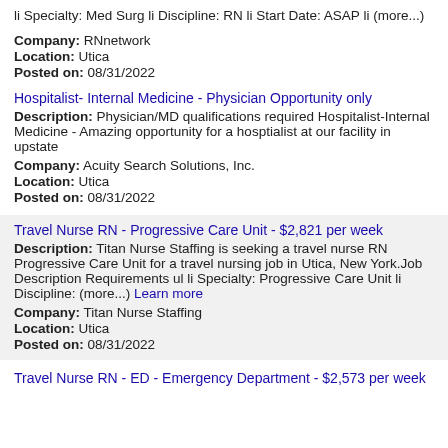li Specialty: Med Surg li Discipline: RN li Start Date: ASAP li (more...)
Company: RNnetwork
Location: Utica
Posted on: 08/31/2022
Hospitalist- Internal Medicine - Physician Opportunity only
Description: Physician/MD qualifications required Hospitalist- Internal Medicine - Amazing opportunity for a hosptialist at our facility in upstate
Company: Acuity Search Solutions, Inc.
Location: Utica
Posted on: 08/31/2022
Travel Nurse RN - Progressive Care Unit - $2,821 per week
Description: Titan Nurse Staffing is seeking a travel nurse RN Progressive Care Unit for a travel nursing job in Utica, New York.Job Description Requirements ul li Specialty: Progressive Care Unit li Discipline: (more...)
Company: Titan Nurse Staffing
Location: Utica
Posted on: 08/31/2022
Travel Nurse RN - ED - Emergency Department - $2,573 per week